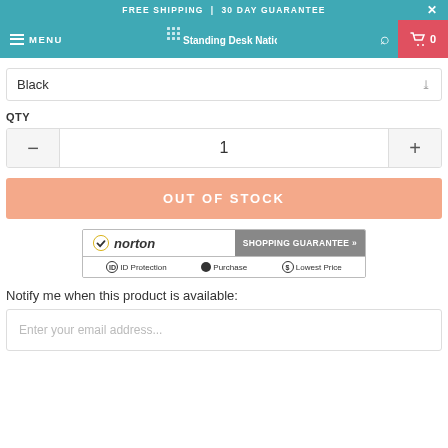FREE SHIPPING | 30 DAY GUARANTEE
MENU  Standing Desk Nation  0
Black
QTY
1
OUT OF STOCK
[Figure (logo): Norton Shopping Guarantee badge with ID Protection, Purchase, and Lowest Price icons]
Notify me when this product is available:
Enter your email address...